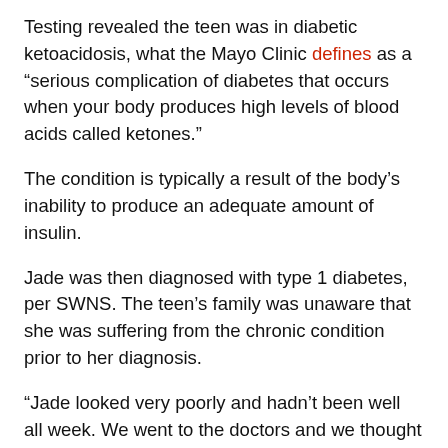Testing revealed the teen was in diabetic ketoacidosis, what the Mayo Clinic defines as a “serious complication of diabetes that occurs when your body produces high levels of blood acids called ketones.”
The condition is typically a result of the body’s inability to produce an adequate amount of insulin.
Jade was then diagnosed with type 1 diabetes, per SWNS. The teen’s family was unaware that she was suffering from the chronic condition prior to her diagnosis.
“Jade looked very poorly and hadn’t been well all week. We went to the doctors and we thought it was just an infection and that was that,” Jade’s mother, Louise, 35, told SWNS. “I had no idea it would turn out to be as serious as it did.”
Read more here: